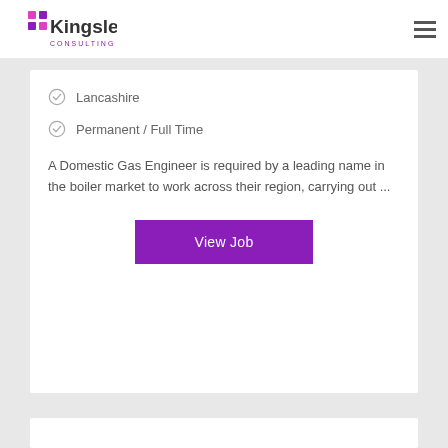[Figure (logo): Kingsley Consulting logo with colorful dot grid and company name]
Lancashire
Permanent / Full Time
A Domestic Gas Engineer is required by a leading name in the boiler market to work across their region, carrying out ...
View Job